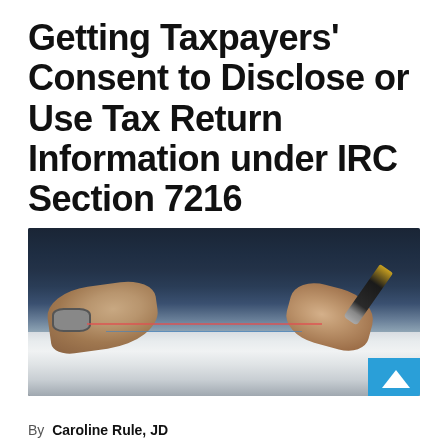Getting Taxpayers' Consent to Disclose or Use Tax Return Information under IRC Section 7216
[Figure (photo): A person in a dark business suit signing documents at a desk, with both hands visible — one resting near the paper and the other holding a pen. A watch is visible on the left wrist. A teal/blue accent box with a white chevron arrow appears in the bottom-right corner of the image.]
By  Caroline Rule, JD